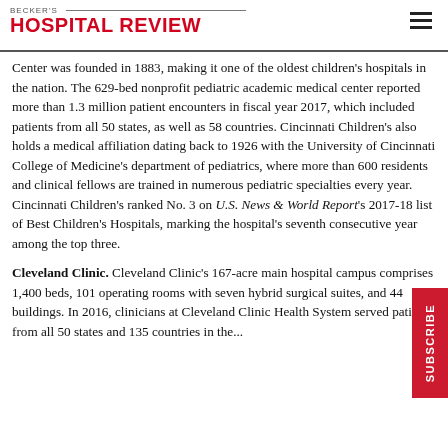BECKER'S HOSPITAL REVIEW
Center was founded in 1883, making it one of the oldest children's hospitals in the nation. The 629-bed nonprofit pediatric academic medical center reported more than 1.3 million patient encounters in fiscal year 2017, which included patients from all 50 states, as well as 58 countries. Cincinnati Children's also holds a medical affiliation dating back to 1926 with the University of Cincinnati College of Medicine's department of pediatrics, where more than 600 residents and clinical fellows are trained in numerous pediatric specialties every year. Cincinnati Children's ranked No. 3 on U.S. News & World Report's 2017-18 list of Best Children's Hospitals, marking the hospital's seventh consecutive year among the top three.
Cleveland Clinic. Cleveland Clinic's 167-acre main hospital campus comprises 1,400 beds, 101 operating rooms with seven hybrid surgical suites, and 44 buildings. In 2016, clinicians at Cleveland Clinic Health System served patients from all 50 states and 135 countries through...